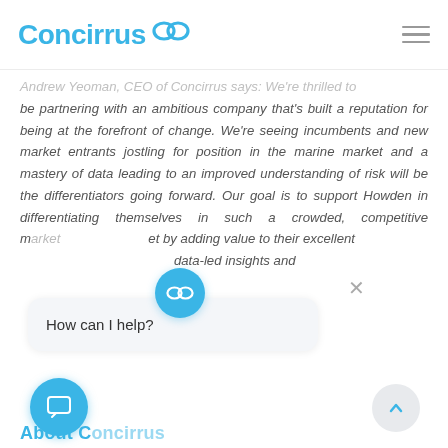Concirrus
Andrew Yeoman, CEO of Concirrus says: We're thrilled to be partnering with an ambitious company that's built a reputation for being at the forefront of change. We're seeing incumbents and new market entrants jostling for position in the marine market and a mastery of data leading to an improved understanding of risk will be the differentiators going forward. Our goal is to support Howden in differentiating themselves in such a crowded, competitive market by adding value to their excellent data-led insights and
[Figure (screenshot): Chat popup widget showing 'How can I help?' message with Concirrus branding, close button, and chat launcher icon]
About Concirrus